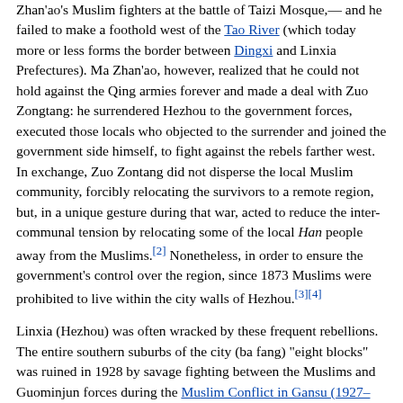Zhan'ao's Muslim fighters at the battle of Taizi Mosque,— and he failed to make a foothold west of the Tao River (which today more or less forms the border between Dingxi and Linxia Prefectures). Ma Zhan'ao, however, realized that he could not hold against the Qing armies forever and made a deal with Zuo Zongtang: he surrendered Hezhou to the government forces, executed those locals who objected to the surrender and joined the government side himself, to fight against the rebels farther west. In exchange, Zuo Zontang did not disperse the local Muslim community, forcibly relocating the survivors to a remote region, but, in a unique gesture during that war, acted to reduce the inter-communal tension by relocating some of the local Han people away from the Muslims.[2] Nonetheless, in order to ensure the government's control over the region, since 1873 Muslims were prohibited to live within the city walls of Hezhou.[3][4]
Linxia (Hezhou) was often wracked by these frequent rebellions. The entire southern suburbs of the city (ba fang) "eight blocks" was ruined in 1928 by savage fighting between the Muslims and Guominjun forces during the Muslim Conflict in Gansu (1927–1930).[5][6]
Well-known Muslim individuals in Hezhou in the 1940s included La Shih-Chun, who was part of the Gansu Provincial Government Committee and Ma Chuanyuan, the supermagistrate of five